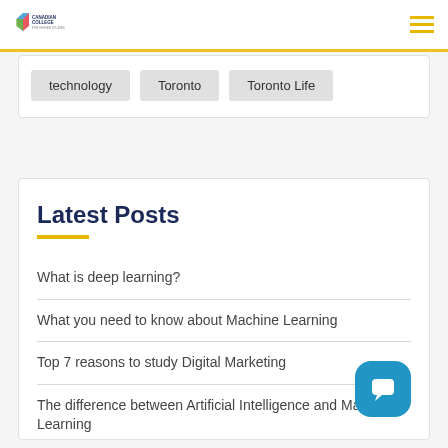Canadian College
technology
Toronto
Toronto Life
Latest Posts
What is deep learning?
What you need to know about Machine Learning
Top 7 reasons to study Digital Marketing
The difference between Artificial Intelligence and Machine Learning